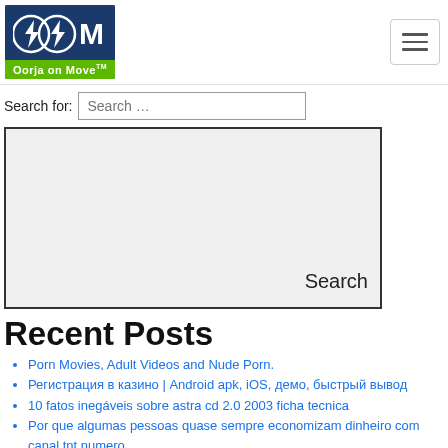[Figure (logo): Oorja on Move logo with lightning bolt icons on dark blue background and green bar]
[Figure (screenshot): Hamburger menu button (three horizontal lines) in a bordered box]
Search for: Search ...
[Figure (screenshot): Gray ad/search widget box with 'Search' text in lower right]
Recent Posts
Porn Movies, Adult Videos and Nude Porn.
Регистрация в казино | Android apk, iOS, демо, быстрый вывод
10 fatos inegáveis sobre astra cd 2.0 2003 ficha tecnica
Por que algumas pessoas quase sempre economizam dinheiro com canal tnt numero